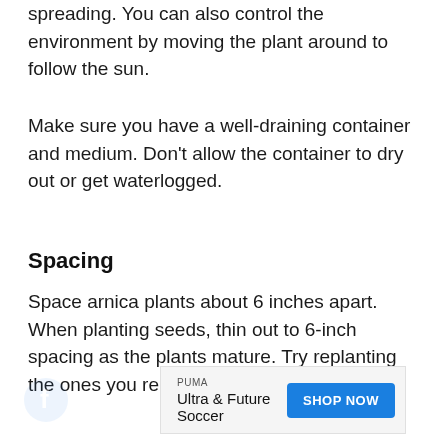spreading. You can also control the environment by moving the plant around to follow the sun.
Make sure you have a well-draining container and medium. Don’t allow the container to dry out or get waterlogged.
Spacing
Space arnica plants about 6 inches apart. When planting seeds, thin out to 6-inch spacing as the plants mature. Try replanting the ones you remove elsewhere.
[Figure (other): Advertisement banner for PUMA Ultra & Future Soccer with a blue SHOP NOW button]